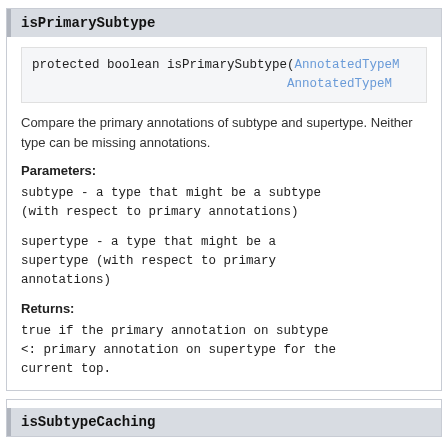isPrimarySubtype
protected boolean isPrimarySubtype(AnnotatedTypeM
                                  AnnotatedTypeM
Compare the primary annotations of subtype and supertype. Neither type can be missing annotations.
Parameters:
subtype - a type that might be a subtype (with respect to primary annotations)
supertype - a type that might be a supertype (with respect to primary annotations)
Returns:
true if the primary annotation on subtype <: primary annotation on supertype for the current top.
isSubtypeCaching